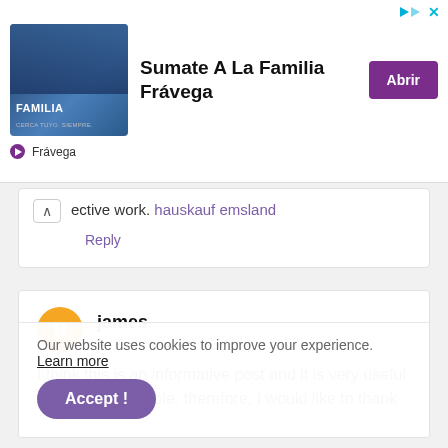[Figure (screenshot): Advertisement banner for Frávega - Sumate A La Familia Frávega with image of people and purple Abrir button]
ective work. hauskauf emsland
Reply
[Figure (illustration): User avatar orange circle with letter B for user james]
james
August 5, 2021 at 3:38 PM
I think this is an informative post and it is very useful and knowledgeable. therefore, I would like to thank
Our website uses cookies to improve your experience. Learn more
Accept !